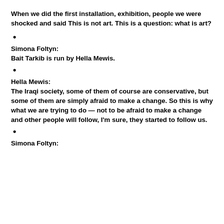When we did the first installation, exhibition, people we were shocked and said This is not art. This is a question: what is art?
•
Simona Foltyn:
Bait Tarkib is run by Hella Mewis.
•
Hella Mewis:
The Iraqi society, some of them of course are conservative, but some of them are simply afraid to make a change. So this is why what we are trying to do — not to be afraid to make a change and other people will follow, I'm sure, they started to follow us.
•
Simona Foltyn: